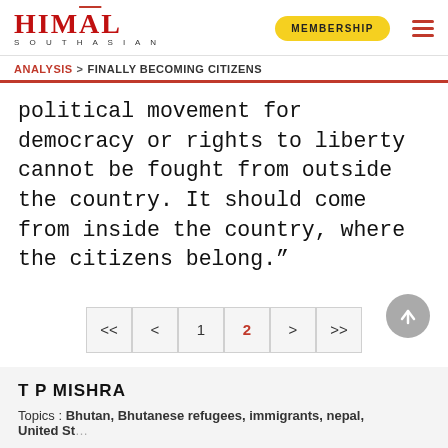HIMAL SOUTHASIAN | MEMBERSHIP
ANALYSIS > FINALLY BECOMING CITIZENS
political movement for democracy or rights to liberty cannot be fought from outside the country. It should come from inside the country, where the citizens belong.”
<< < 1 2 > >>
T P MISHRA
Topics : Bhutan, Bhutanese refugees, immigrants, nepal, United St...